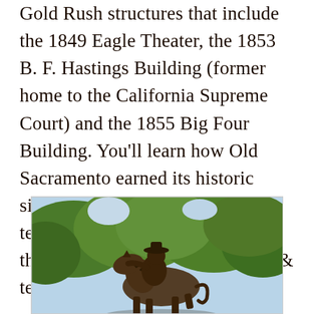Gold Rush structures that include the 1849 Eagle Theater, the 1853 B. F. Hastings Building (former home to the California Supreme Court) and the 1855 Big Four Building. You'll learn how Old Sacramento earned its historic significance by being the western terminus of the Pony Express and the first transcontinental railroad & telegraph.
[Figure (photo): A bronze equestrian statue of a Pony Express rider on horseback, set against a backdrop of green trees and a light blue sky.]